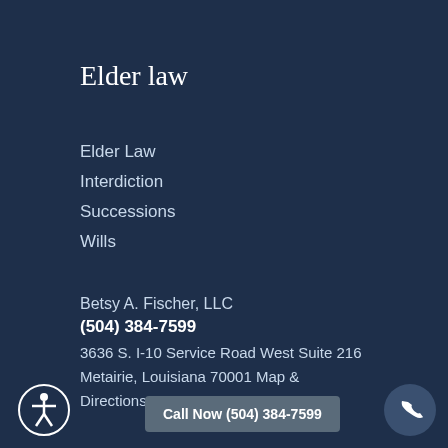Elder law
Elder Law
Interdiction
Successions
Wills
Betsy A. Fischer, LLC
(504) 384-7599
3636 S. I-10 Service Road West Suite 216
Metairie, Louisiana 70001 Map & Directions
Call Now (504) 384-7599